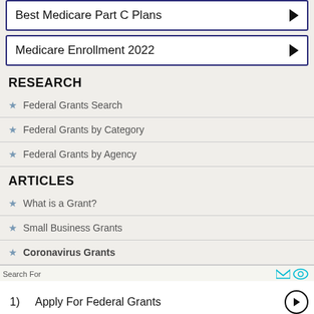Best Medicare Part C Plans
Medicare Enrollment 2022
RESEARCH
Federal Grants Search
Federal Grants by Category
Federal Grants by Agency
ARTICLES
What is a Grant?
Small Business Grants
Coronavirus Grants
Search For
1)   Apply For Federal Grants
2)   Apply For Free Grants